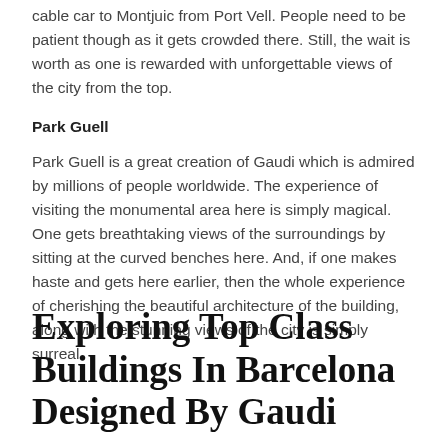cable car to Montjuic from Port Vell. People need to be patient though as it gets crowded there. Still, the wait is worth as one is rewarded with unforgettable views of the city from the top.
Park Guell
Park Guell is a great creation of Gaudi which is admired by millions of people worldwide. The experience of visiting the monumental area here is simply magical. One gets breathtaking views of the surroundings by sitting at the curved benches here. And, if one makes haste and gets here earlier, then the whole experience of cherishing the beautiful architecture of the building, along with the stunning views of the city is simply surreal.
Exploring Top Class Buildings In Barcelona Designed By Gaudi